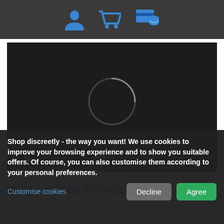[Figure (screenshot): Top navigation bar with dark background showing three blue icons: user/person icon, shopping cart icon, and credit card/payment icon]
[Figure (screenshot): Video player with dark background showing a loading spinner circle in the center, play button, 0:00 timestamp, volume icon, fullscreen icon, and more options icon at bottom. Progress bar at bottom.]
STEEL STOOL POWDER - 182G
Shop discreetly - the way you want! We use cookies to improve your browsing experience and to show you suitable offers. Of course, you can also customise them according to your personal preferences.
Customise cookies
Decline
Agree